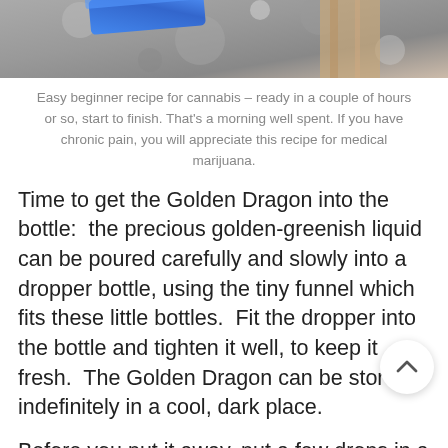[Figure (photo): Partial photo showing a blue spatula/tool and granite surface background]
Easy beginner recipe for cannabis – ready in a couple of hours or so, start to finish. That's a morning well spent. If you have chronic pain, you will appreciate this recipe for medical marijuana.
Time to get the Golden Dragon into the bottle:  the precious golden-greenish liquid can be poured carefully and slowly into a dropper bottle, using the tiny funnel which fits these little bottles.  Fit the dropper into the bottle and tighten it well, to keep it fresh.  The Golden Dragon can be stored indefinitely in a cool, dark place.
Before you put it away, put a few drops in a cup of tea, and give yourself a well-deserved pat on the back.  You've come a long way from smoking pot in